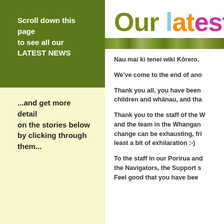Scroll down this page to see all our LATEST NEWS
...and get more detail on the stories below by clicking through them...
Our latest n
[Figure (illustration): Green leafy banner image strip]
Nau mai ki tenei wiki Kōrero.
We've come to the end of ano
Thank you all, you have been children and whānau, and tha
Thank you to the staff of the W and the team in the Whangan change can be exhausting, fri least a bit of exhilaration :-)
To the staff in our Porirua and the Navigators, the Support s Feel good that you have bee